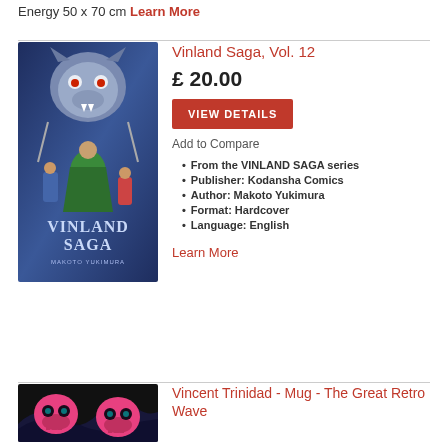Energy 50 x 70 cm Learn More
[Figure (illustration): Vinland Saga Vol. 12 book cover showing a wolf-like creature at top, a man in a green cloak in the center, and the title 'VINLAND SAGA' in large letters]
Vinland Saga, Vol. 12
£ 20.00
VIEW DETAILS
Add to Compare
From the VINLAND SAGA series
Publisher: Kodansha Comics
Author: Makoto Yukimura
Format: Hardcover
Language: English
Learn More
Vincent Trinidad - Mug - The Great Retro Wave
[Figure (illustration): Dark background with neon-colored retro-style skulls with wave patterns]